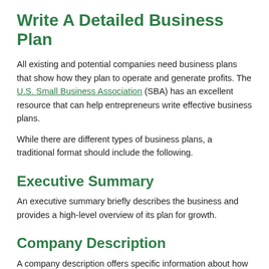Write A Detailed Business Plan
All existing and potential companies need business plans that show how they plan to operate and generate profits. The U.S. Small Business Association (SBA) has an excellent resource that can help entrepreneurs write effective business plans.
While there are different types of business plans, a traditional format should include the following.
Executive Summary
An executive summary briefly describes the business and provides a high-level overview of its plan for growth.
Company Description
A company description offers specific information about how the business will solve consumer problems and how it will create a competitive advantage over similar companies in the area.